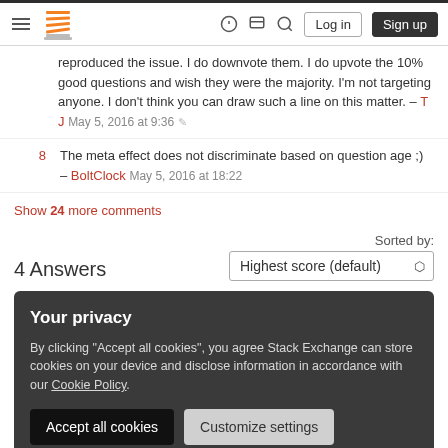Stack Exchange navigation bar with Log in and Sign up buttons
reproduced the issue. I do downvote them. I do upvote the 10% good questions and wish they were the majority. I'm not targeting anyone. I don't think you can draw such a line on this matter. – T J May 5, 2016 at 9:36
8 The meta effect does not discriminate based on question age ;) – BoltClock May 5, 2016 at 18:22
Show 24 more comments
4 Answers
Sorted by: Highest score (default)
Your privacy
By clicking "Accept all cookies", you agree Stack Exchange can store cookies on your device and disclose information in accordance with our Cookie Policy.
Accept all cookies  Customize settings
code does, as long as it meets the quality standards